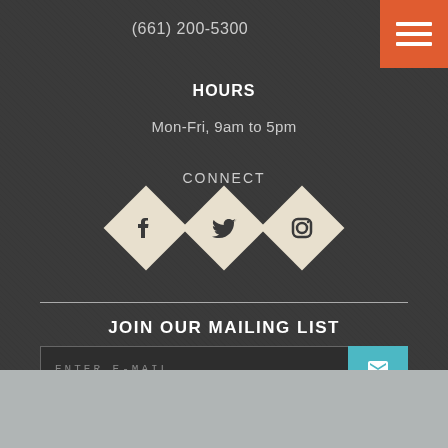(661) 200-5300
HOURS
Mon-Fri, 9am to 5pm
CONNECT
[Figure (illustration): Three diamond-shaped social media icons for Facebook, Twitter, and Instagram on a dark background]
JOIN OUR MAILING LIST
ENTER E-MAIL
© RICHARD PHOTO LAB. ALL RIGHTS RESERVED. PRIVACY POLICY